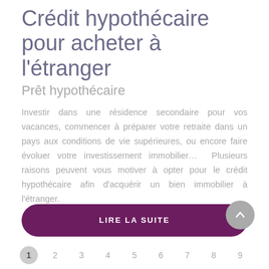Crédit hypothécaire pour acheter à l'étranger
Prêt hypothécaire
Investir dans une résidence secondaire pour vos vacances, commencer à préparer votre retraite dans un pays aux conditions de vie supérieures, ou encore faire évoluer votre investissement immobilier… Plusieurs raisons peuvent vous motiver à opter pour le crédit hypothécaire afin d'acquérir un bien immobilier à l'étranger.
LIRE LA SUITE
1  2  3  4  5  6  7  8  9